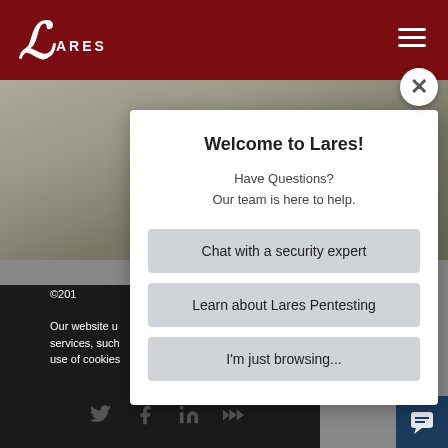[Figure (screenshot): Website screenshot background showing dark red header with Lares logo and hamburger menu, photo background, and dark footer]
Welcome to Lares!
Have Questions?
Our team is here to help.
Chat with a security expert
Learn about Lares Pentesting
I'm just browsing...
©201
Our website u services, such use of cookies
I AGREE